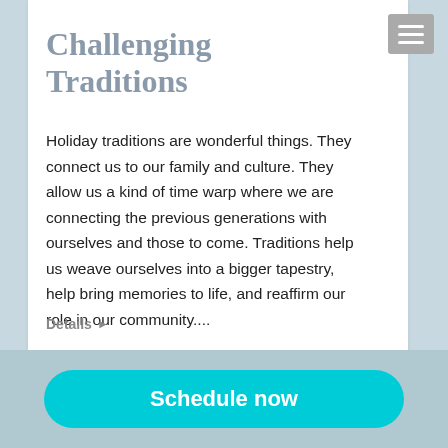Challenging Traditions
Holiday traditions are wonderful things. They connect us to our family and culture. They allow us a kind of time warp where we are connecting the previous generations with ourselves and those to come. Traditions help us weave ourselves into a bigger tapestry, help bring memories to life, and reaffirm our role in our community....
Details ▶
Uncategorized • By dracomis • December 5, 2015
Schedule now